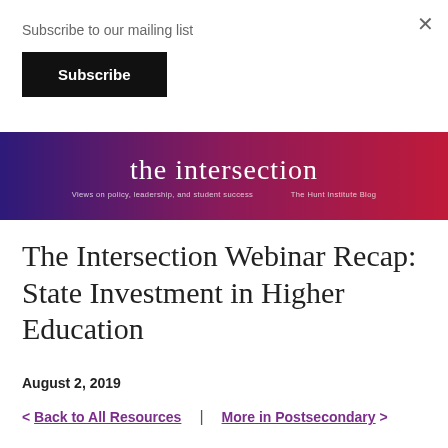Subscribe to our mailing list
Subscribe
[Figure (illustration): The Intersection blog banner with gradient background from dark purple to crimson. Title reads 'the intersection' with subtitle 'Views on policy, leadership, and student success' and 'The Hunt Institute Blog']
The Intersection Webinar Recap: State Investment in Higher Education
August 2, 2019
< Back to All Resources  |  More in Postsecondary >